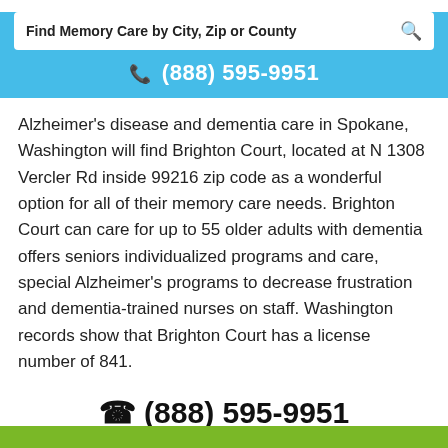Find Memory Care by City, Zip or County
☎ (888) 595-9951
Alzheimer's disease and dementia care in Spokane, Washington will find Brighton Court, located at N 1308 Vercler Rd inside 99216 zip code as a wonderful option for all of their memory care needs. Brighton Court can care for up to 55 older adults with dementia offers seniors individualized programs and care, special Alzheimer's programs to decrease frustration and dementia-trained nurses on staff. Washington records show that Brighton Court has a license number of 841.
(888) 595-9951